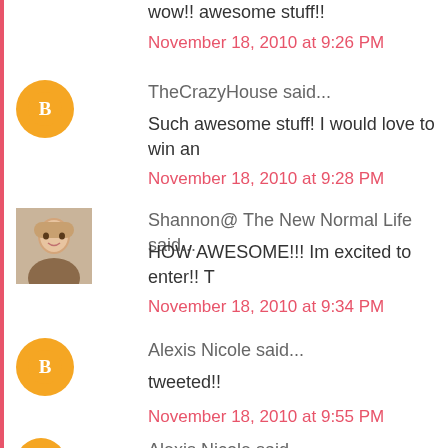wow!! awesome stuff!!
November 18, 2010 at 9:26 PM
TheCrazyHouse said...
Such awesome stuff! I would love to win an
November 18, 2010 at 9:28 PM
Shannon@ The New Normal Life said...
HOW AWESOME!!! Im excited to enter!! T
November 18, 2010 at 9:34 PM
Alexis Nicole said...
tweeted!!
November 18, 2010 at 9:55 PM
Alexis Nicole said...